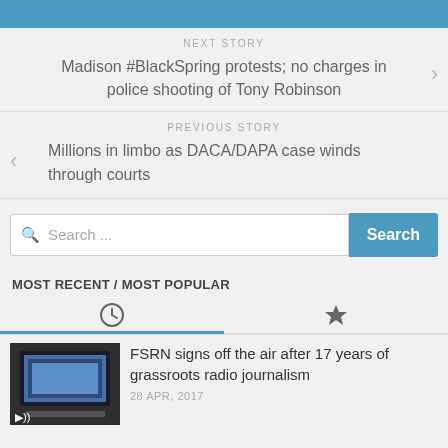NEXT STORY
Madison #BlackSpring protests; no charges in police shooting of Tony Robinson
PREVIOUS STORY
Millions in limbo as DACA/DAPA case winds through courts
Search ...
MOST RECENT / MOST POPULAR
FSRN signs off the air after 17 years of grassroots radio journalism
28 APR, 2017